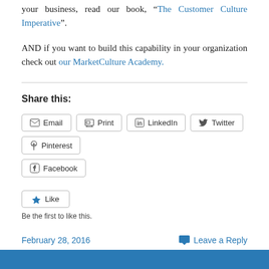your business, read our book, “The Customer Culture Imperative”.
AND if you want to build this capability in your organization check out our MarketCulture Academy.
Share this:
[Figure (other): Share buttons row: Email, Print, LinkedIn, Twitter, Pinterest, Facebook]
[Figure (other): Like button with star icon and caption: Be the first to like this.]
February 28, 2016
Leave a Reply